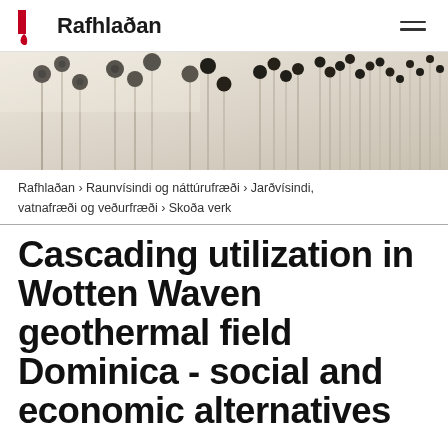Rafhlaðan
[Figure (photo): Close-up photograph of laboratory equipment with dark spherical objects (likely electrodes or instruments) mounted on vertical rods/tubes, arranged in rows, with a pale background.]
Rafhlaðan › Raunvísindi og náttúrufræði › Jarðvísindi, vatnafræði og veðurfræði › Skoða verk
Cascading utilization in Wotten Waven geothermal field Dominica - social and economic alternatives